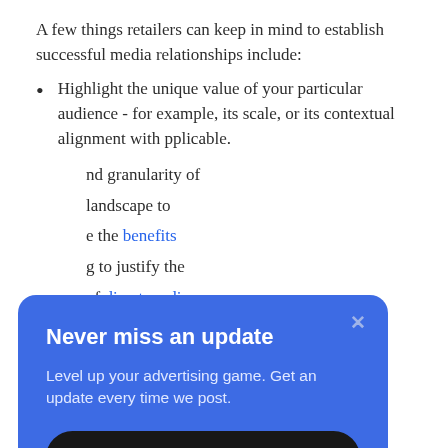A few things retailers can keep in mind to establish successful media relationships include:
Highlight the unique value of your particular audience - for example, its scale, or its contextual alignment with [obscured] pplicable.
[obscured] nd granularity of
[obscured] landscape to [obscured] e the benefits [obscured] g to justify the
[obscured] of direct media [obscured] dvertising, particularly in the absence of third-party
[Figure (screenshot): A blue popup widget overlaying the document content. Title: 'Never miss an update'. Body text: 'Level up your advertising game. Get an update every time we post.' A dark rounded Subscribe button with an arrow icon. An X close button in the top right.]